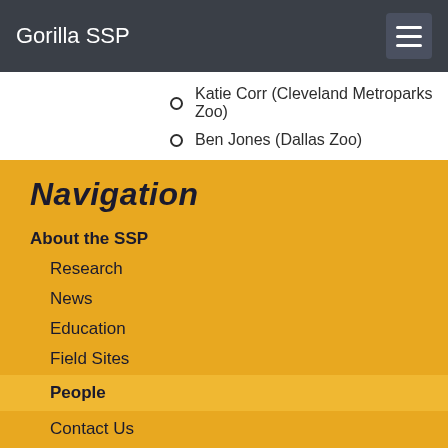Gorilla SSP
Katie Corr (Cleveland Metroparks Zoo)
Ben Jones (Dallas Zoo)
Navigation
About the SSP
Research
News
Education
Field Sites
People
Contact Us
About the Site
About Gorillas